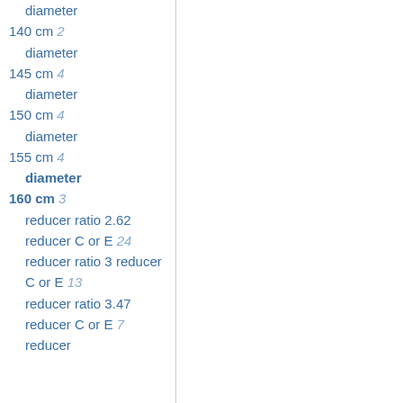diameter
140 cm 2
  diameter
145 cm 4
  diameter
150 cm 4
  diameter
155 cm 4
  diameter
160 cm 3
  reducer ratio 2.62 reducer C or E 24
  reducer ratio 3 reducer C or E 13
  reducer ratio 3.47 reducer C or E 7
  reducer